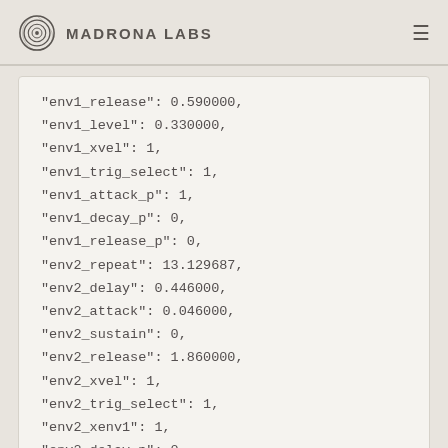Madrona Labs
"env1_release": 0.590000,
"env1_level": 0.330000,
"env1_xvel": 1,
"env1_trig_select": 1,
"env1_attack_p": 1,
"env1_decay_p": 0,
"env1_release_p": 0,
"env2_repeat": 13.129687,
"env2_delay": 0.446000,
"env2_attack": 0.046000,
"env2_sustain": 0,
"env2_release": 1.860000,
"env2_xvel": 1,
"env2_trig_select": 1,
"env2_xenv1": 1,
"env2_delay_p": 0,
"env2_attack_p": 0,